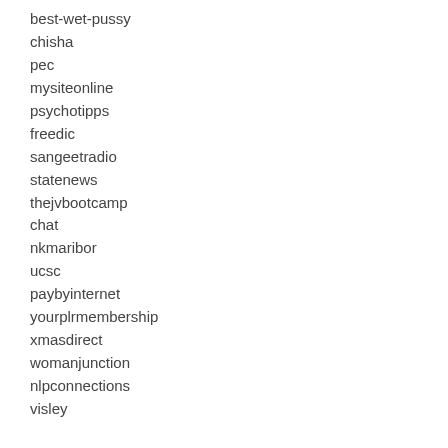best-wet-pussy
chisha
pec
mysiteonline
psychotipps
freedic
sangeetradio
statenews
thejvbootcamp
chat
nkmaribor
ucsc
paybyinternet
yourplrmembership
xmasdirect
womanjunction
nlpconnections
visley